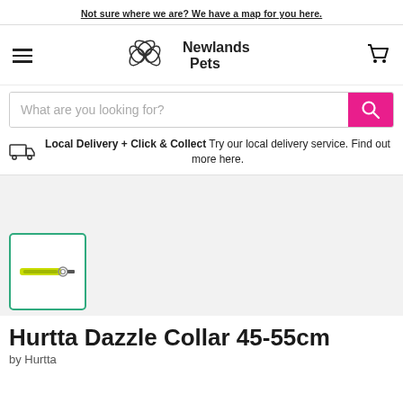Not sure where we are? We have a map for you here.
[Figure (logo): Newlands Pets logo with leaf/flower icon]
What are you looking for?
Local Delivery + Click & Collect Try our local delivery service. Find out more here.
[Figure (photo): Product thumbnail image of Hurtta Dazzle Collar 45-55cm in yellow/green]
Hurtta Dazzle Collar 45-55cm
by Hurtta